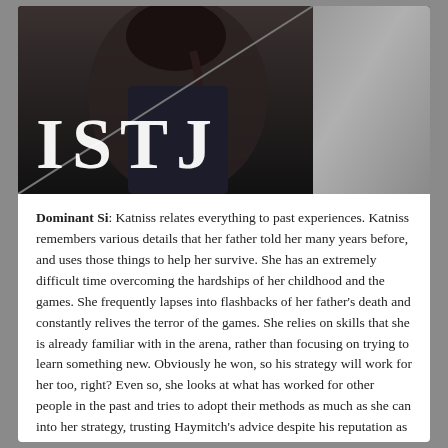[Figure (photo): A young woman in dark tactical/hunter clothing with a braid, leaning against a stone column in a dark setting. The large text 'ISTJ' is overlaid on the lower-left of the photo in white serif font.]
Dominant Si: Katniss relates everything to past experiences. Katniss remembers various details that her father told her many years before, and uses those things to help her survive. She has an extremely difficult time overcoming the hardships of her childhood and the games. She frequently lapses into flashbacks of her father's death and constantly relives the terror of the games. She relies on skills that she is already familiar with in the arena, rather than focusing on trying to learn something new. Obviously he won, so his strategy will work for her too, right? Even so, she looks at what has worked for other people in the past and tries to adopt their methods as much as she can into her strategy, trusting Haymitch's advice despite his reputation as a drunk. She is often so